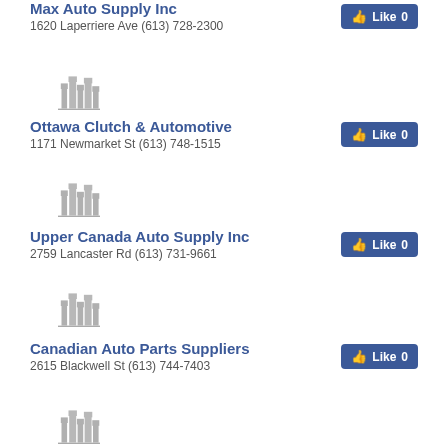Max Auto Supply Inc
1620 Laperriere Ave (613) 728-2300
[Figure (illustration): Gray placeholder building/city silhouette icon]
Ottawa Clutch & Automotive
1171 Newmarket St (613) 748-1515
[Figure (illustration): Gray placeholder building/city silhouette icon]
Upper Canada Auto Supply Inc
2759 Lancaster Rd (613) 731-9661
[Figure (illustration): Gray placeholder building/city silhouette icon]
Canadian Auto Parts Suppliers
2615 Blackwell St (613) 744-7403
[Figure (illustration): Gray placeholder building/city silhouette icon]